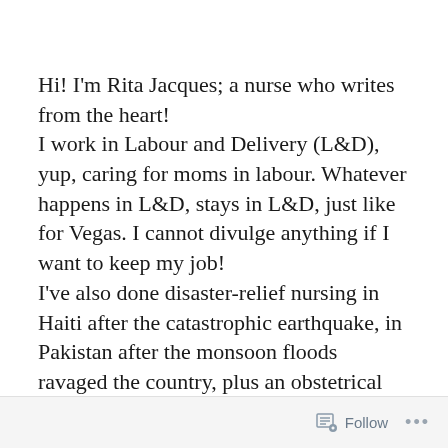Hi! I'm Rita Jacques; a nurse who writes from the heart!
I work in Labour and Delivery (L&D), yup, caring for moms in labour. Whatever happens in L&D, stays in L&D, just like for Vegas. I cannot divulge anything if I want to keep my job!
I've also done disaster-relief nursing in Haiti after the catastrophic earthquake, in Pakistan after the monsoon floods ravaged the country, plus an obstetrical nursing stint in Honduras. I love nursing, travel and adventure so it all ties together.
Follow ...